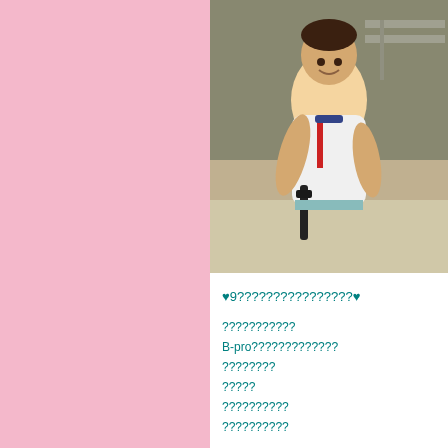[Figure (photo): A child in a white polo shirt holding a dark object, smiling, in what appears to be an indoor setting with tiled floor and equipment in the background.]
♥9????????????????♥
???????????
B-pro?????????????
????????
?????
??????????
??????????